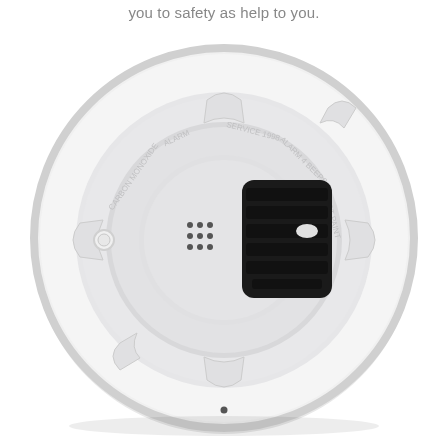you to safety as help to you.
[Figure (photo): Bottom view of a round white carbon monoxide / smoke alarm detector. The device shows a speaker grille with horizontal slots on the right side, a grid of small dots (LED indicator area) on the left-center, a circular mounting ring with locking tabs, and text curved around the inner ring reading 'CARBON MONOXIDE ALARM', 'SERVICE 1998', 'ALARM 4 BEEPS', 'DO NOT PAINT'. There is a small round LED indicator dot at the bottom center and a round test button on the left side.]